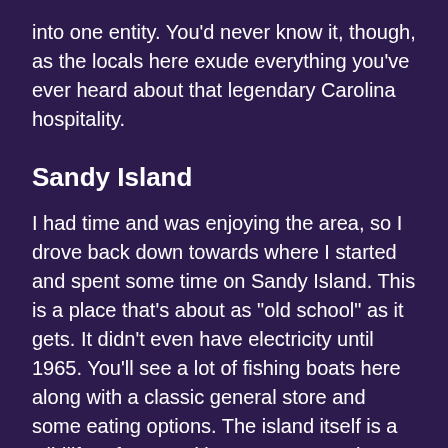into one entity. You'd never know it, though, as the locals here exude everything you've ever heard about that legendary Carolina hospitality.
Sandy Island
I had time and was enjoying the area, so I drove back down towards where I started and spent some time on Sandy Island. This is a place that's about as "old school" as it gets. It didn't even have electricity until 1965. You'll see a lot of fishing boats here along with a classic general store and some eating options. The island itself is a wildlife refuge, and it's easy to see why as this is a place that seems to have never been touched by anyone who ever wanted to build condos or a mini-mall. It was really something to see.